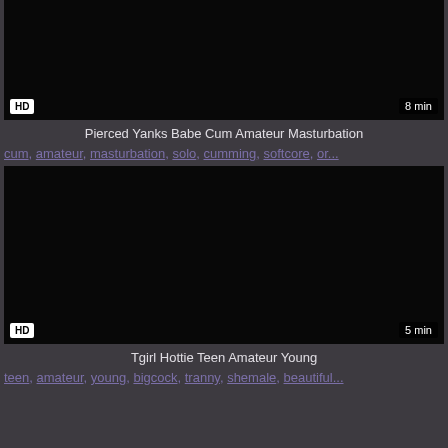[Figure (screenshot): Dark video thumbnail with HD badge and 8 min duration label]
Pierced Yanks Babe Cum Amateur Masturbation
cum, amateur, masturbation, solo, cumming, softcore, or...
[Figure (screenshot): Dark video thumbnail with HD badge and 5 min duration label]
Tgirl Hottie Teen Amateur Young
teen, amateur, young, bigcock, tranny, shemale, beautiful...